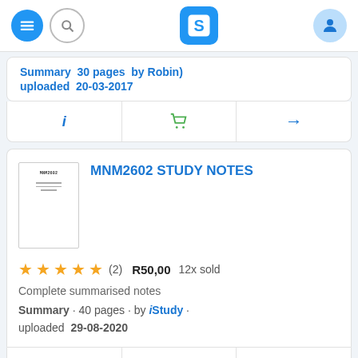Stuvia navigation bar with menu, search, logo, and profile
Summary · 30 pages · by Robm · uploaded 20-03-2017
MNM2602 STUDY NOTES
★★★★★ (2)  R50,00  12x sold
Complete summarised notes
Summary · 40 pages · by iStudy · uploaded 29-08-2020